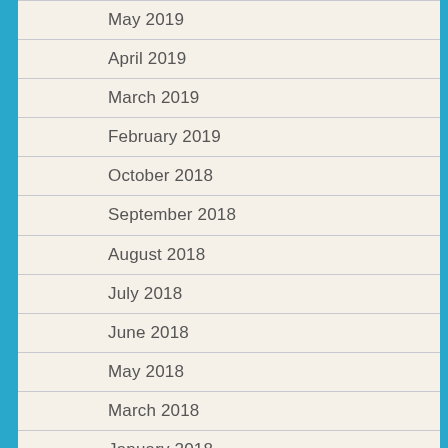May 2019
April 2019
March 2019
February 2019
October 2018
September 2018
August 2018
July 2018
June 2018
May 2018
March 2018
January 2018
November 2017
October 2017